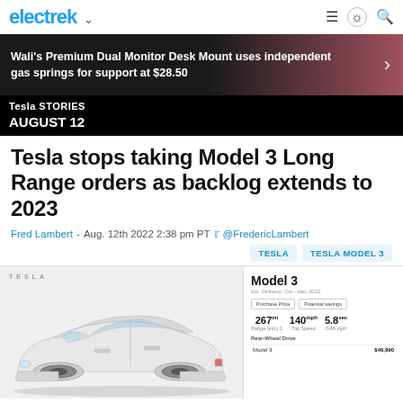electrek
[Figure (photo): Ad banner: Wali's Premium Dual Monitor Desk Mount uses independent gas springs for support at $28.50]
Wali's Premium Dual Monitor Desk Mount uses independent gas springs for support at $28.50
Tesla STORIES
AUGUST 12
Tesla stops taking Model 3 Long Range orders as backlog extends to 2023
Fred Lambert - Aug. 12th 2022 2:38 pm PT @FredericLambert
TESLA   TESLA MODEL 3
[Figure (screenshot): Tesla Model 3 configurator screenshot showing a white Model 3 car with spec panel: Est. Delivery Oct-Dec 2022, Purchase Price / Potential Savings, 267mi range, 140mph top speed, 5.8sec 0-60mph, Rear-Wheel Drive. Model 3 starting price shown.]